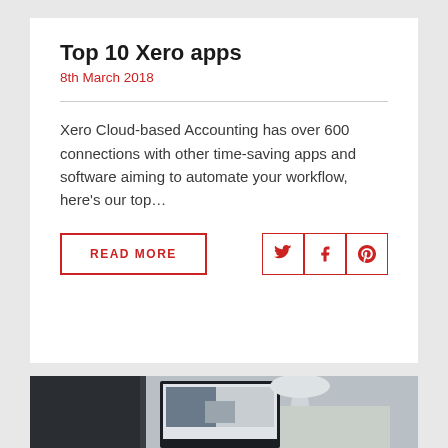Top 10 Xero apps
8th March 2018
Xero Cloud-based Accounting has over 600 connections with other time-saving apps and software aiming to automate your workflow, here’s our top…
[Figure (screenshot): READ MORE button and social share icons (Twitter, Facebook, Pinterest) in red outline style]
[Figure (photo): Partial photo of a workspace with a monitor/screen visible, light background]